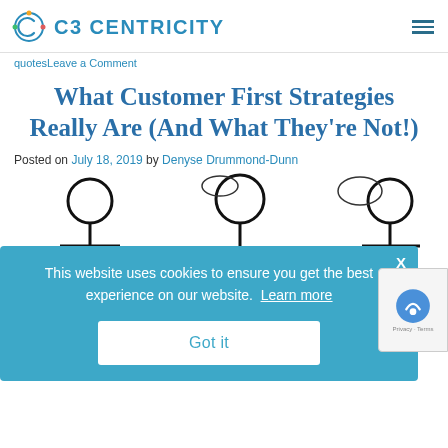C3 CENTRICITY
quotesLeave a Comment
What Customer First Strategies Really Are (And What They’re Not!)
Posted on July 18, 2019 by Denyse Drummond-Dunn
[Figure (illustration): Cartoon illustration of people discussing, partially visible behind cookie consent banner]
This website uses cookies to ensure you get the best experience on our website. Learn more
Got it